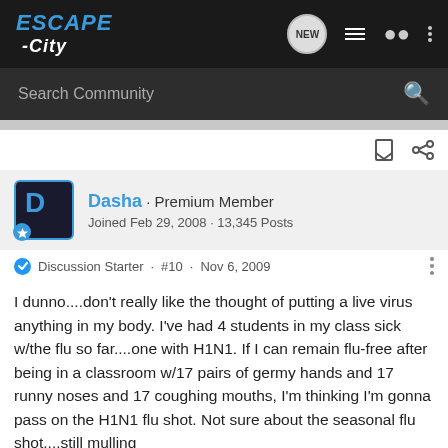ESCAPE-City navigation bar with logo, NEW chat icon, list icon, person icon, dots icon
Search Community
Dasha · Premium Member
Joined Feb 29, 2008 · 13,345 Posts
Discussion Starter · #10 · Nov 6, 2009
I dunno....don't really like the thought of putting a live virus anything in my body. I've had 4 students in my class sick w/the flu so far....one with H1N1. If I can remain flu-free after being in a classroom w/17 pairs of germy hands and 17 runny noses and 17 coughing mouths, I'm thinking I'm gonna pass on the H1N1 flu shot. Not sure about the seasonal flu shot....still mulling
Thanks
[Figure (infographic): Advertisement banner: ALL-NEW NOMAD GRAPPLER CROSSOVER-TERRAIN TIRE with NITTO logo and tire image on dark background]